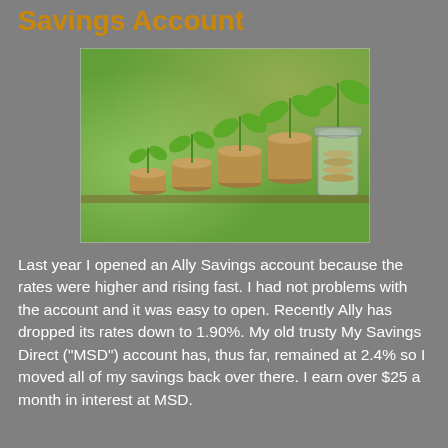Savings Account
[Figure (photo): Photo of four stacked coin piles of increasing height with small green plants growing from the top, alongside a glass jar filled with coins, set against a blurred green nature background.]
Last year I opened an Ally Savings account because the rates were higher and rising fast.  I had not problems with the account and it was easy to open.  Recently Ally has dropped its rates down to 1.90%.  My old trusty My Savings Direct ("MSD") account has, thus far, remained at 2.4% so I moved all of my savings back over there.  I earn over $25 a month in interest at MSD.